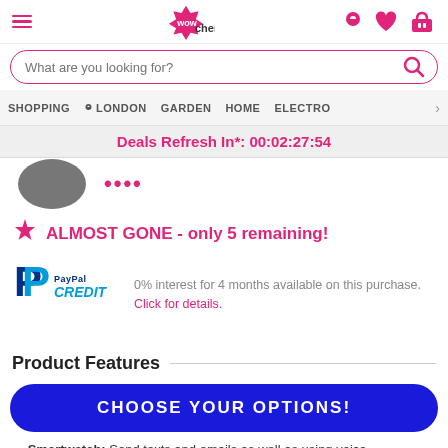Wowcher — hamburger menu, logo, search bar, location/shopping nav
Deals Refresh In*: 00:02:27:54
[Figure (photo): Partial product image — dark circular product thumbnail and pink price text partially visible]
ALMOST GONE - only 5 remaining!
[Figure (logo): PayPal CREDIT logo — blue P icon with PayPal and CREDIT text]
0% interest for 4 months available on this purchase. Click for details.
Product Features
CHOOSE YOUR OPTIONS!
Smartwatch: Send texts and emails as well as using voice